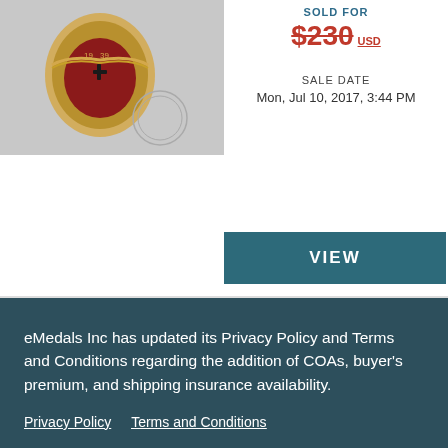[Figure (photo): Historical military badge/pin with eagle and gear design on grey background]
SOLD FOR
$230 USD
SALE DATE
Mon, Jul 10, 2017, 3:44 PM
VIEW
eMedals Inc has updated its Privacy Policy and Terms and Conditions regarding the addition of COAs, buyer's premium, and shipping insurance availability.
Privacy Policy
Terms and Conditions
ACCEPT
A Cased 1939 Victors Badge Of